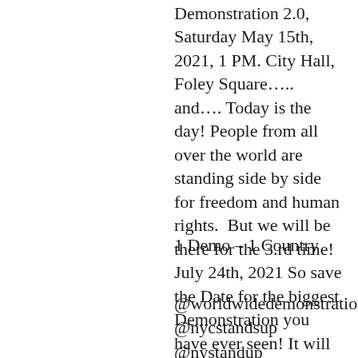Demonstration 2.0, Saturday May 15th, 2021, 1 PM. City Hall, Foley Square….. and…. Today is the day! People from all over the world are standing side by side for freedom and human rights.  But we will be there for the 3.rd time! July 24th, 2021 So save the Date for the biggest Demonstration you have ever seen! It will be powerful and unforgettable
1 Demo – 1 Country
@worldwidedemonstration
@nycstandsup @nystandup
@newyorkfreedomrally